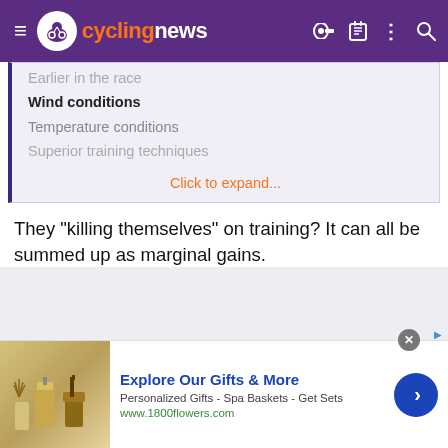cyclingnews
Earlier in the race
Wind conditions
Temperature conditions
Superior training techniques
Click to expand...
They "killing themselves" on training? It can all be summed up as marginal gains.
[Figure (screenshot): Advertisement banner for 1800flowers.com showing gift products. Headline: Explore Our Gifts & More. Subtext: Personalized Gifts - Spa Baskets - Get Sets. URL: www.1800flowers.com]